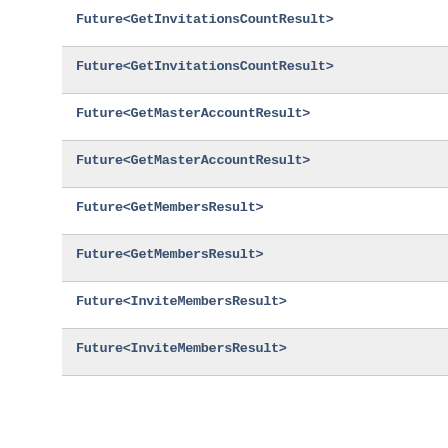Future<GetInvitationsCountResult>
Future<GetInvitationsCountResult>
Future<GetMasterAccountResult>
Future<GetMasterAccountResult>
Future<GetMembersResult>
Future<GetMembersResult>
Future<InviteMembersResult>
Future<InviteMembersResult>